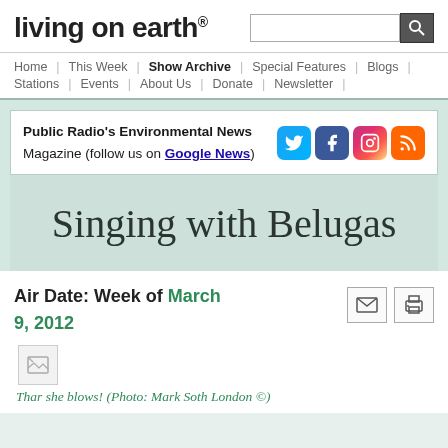living on earth®
Home | This Week | Show Archive | Special Features | Blogs | Stations | Events | About Us | Donate | Newsletter
Public Radio's Environmental News Magazine (follow us on Google News)
Singing with Belugas
Air Date: Week of March 9, 2012
Thar she blows! (Photo: Mark Soth London ©)